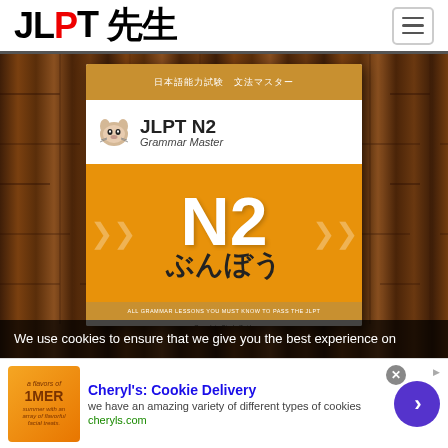JLPT 先生
[Figure (photo): Screenshot of JLPT Sensei website showing a book cover for 'JLPT N2 Grammar Master' (ぶんぼう) displayed against a wooden background. The book cover has an orange and white design with a large N2 text and hiragana ぶんぼう. There is a cookie consent banner overlay at the bottom of the image.]
We use cookies to ensure that we give you the best experience on
Cheryl's: Cookie Delivery
we have an amazing variety of different types of cookies
cheryls.com